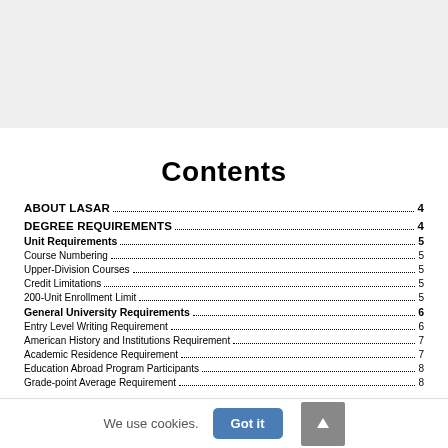[Figure (other): Gray banner/header area at top of page]
Contents
ABOUT LASAR  4
DEGREE REQUIREMENTS  4
Unit Requirements  5
Course Numbering  5
Upper-Division Courses  5
Credit Limitations  5
200-Unit Enrollment Limit  5
General University Requirements  6
Entry Level Writing Requirement  6
American History and Institutions Requirement  7
Academic Residence Requirement  7
Education Abroad Program Participants  8
Grade-point Average Requirement  8